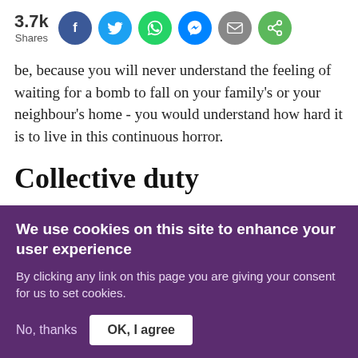[Figure (infographic): Social share bar showing 3.7k shares with buttons for Facebook, Twitter, WhatsApp, Messenger, Email, and Share]
be, because you will never understand the feeling of waiting for a bomb to fall on your family’s or your neighbour’s home - you would understand how hard it is to live in this continuous horror.
Collective duty
I was shot in the leg with a live bullet while protesting
We use cookies on this site to enhance your user experience
By clicking any link on this page you are giving your consent for us to set cookies.
No, thanks
OK, I agree